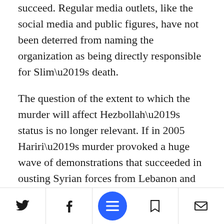succeed. Regular media outlets, like the social media and public figures, have not been deterred from naming the organization as being directly responsible for Slim’s death.
The question of the extent to which the murder will affect Hezbollah’s status is no longer relevant. If in 2005 Hariri’s murder provoked a huge wave of demonstrations that succeeded in ousting Syrian forces from Lebanon and clearly dividing that country's populace between supporters and opponents of the militant organization – a division that brought about the po… system that is
Social share and navigation bar with Twitter, Facebook, menu, bookmark, and email icons